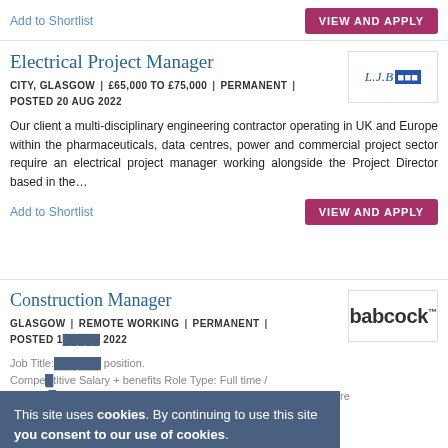Add to Shortlist
VIEW AND APPLY
Electrical Project Manager
CITY, GLASGOW | £65,000 TO £75,000 | PERMANENT | POSTED 20 AUG 2022
[Figure (logo): L.J.B logo with blue box]
Our client a multi-disciplinary engineering contractor operating in UK and Europe within the pharmaceuticals, data centres, power and commercial project sector require an electrical project manager working alongside the Project Director based in the...
Add to Shortlist
VIEW AND APPLY
Construction Manager
[Figure (logo): Babcock logo]
GLASGOW | REMOTE WORKING | PERMANENT | POSTED [date]
Job Title: ... position. Competitive Salary + benefits Role Type: Full time / Permanent Role ID: SF49025 Amplify your impact At Babcock We're
This site uses cookies. By continuing to use this site you consent to our use of cookies.